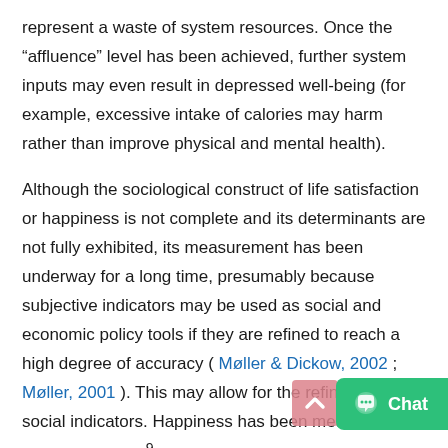represent a waste of system resources. Once the “affluence” level has been achieved, further system inputs may even result in depressed well-being (for example, excessive intake of calories may harm rather than improve physical and mental health).
Although the sociological construct of life satisfaction or happiness is not complete and its determinants are not fully exhibited, its measurement has been underway for a long time, presumably because subjective indicators may be used as social and economic policy tools if they are refined to reach a high degree of accuracy ( Møller & Dickow, 2002 ; Møller, 2001 ). This may allow for the refinement of social indicators. Happiness has been measured since the 1960s.9 A striking example of a measurement technique aimed at capturing the subjective component in defining the qualities of life is Cantril’s (1965) “self-anchoring” scale. Subjects were required to describe their life situation in relation to the best